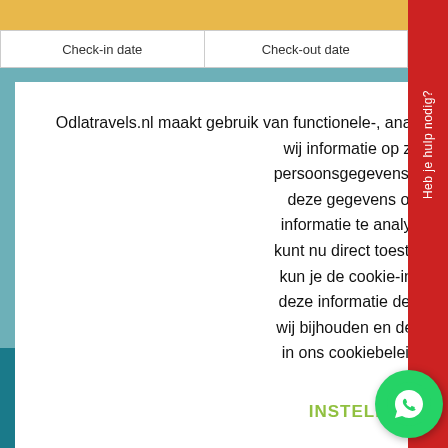| Check-in date | Check-out date |
| --- | --- |
Odlatravels.nl maakt gebruik van functionele-, analytische- en tracking-cookies om de website te verbeteren. Hiervoor slaan wij informatie op zoals je IP-adres, je surfgedrag en alle persoonsgegevens die je zelf bij ons achterlaat. Wij gebruiken deze gegevens om met tools van andere partijen deze informatie te analyseren om onze website te verbeteren. Je kunt nu direct toestemming geven voor al deze cookies. Of kun je de cookie-instellingen wijzigen als je niet wilt dat we deze informatie delen. Meer informatie over de cookies die wij bijhouden en de partijen waarmee wij samenwerken vind je in ons cookiebeleid. Lees meer over ons cookiebeleid
INSTELLINGEN
ACCEPTEER
Nederland
[Figure (logo): WhatsApp chat bubble icon in green circle]
Heb je hulp nodig?